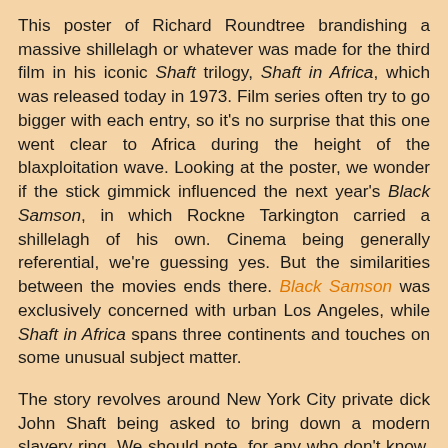This poster of Richard Roundtree brandishing a massive shillelagh or whatever was made for the third film in his iconic Shaft trilogy, Shaft in Africa, which was released today in 1973. Film series often try to go bigger with each entry, so it's no surprise that this one went clear to Africa during the height of the blaxploitation wave. Looking at the poster, we wonder if the stick gimmick influenced the next year's Black Samson, in which Rockne Tarkington carried a shillelagh of his own. Cinema being generally referential, we're guessing yes. But the similarities between the movies ends there. Black Samson was exclusively concerned with urban Los Angeles, while Shaft in Africa spans three continents and touches on some unusual subject matter.
The story revolves around New York City private dick John Shaft being asked to bring down a modern slavery ring. We should note, for any who don't know, that this evil thrives in 2022. In modern slavery, people desperate for work are offered foreign jobs that turn out to be short-term or no little...